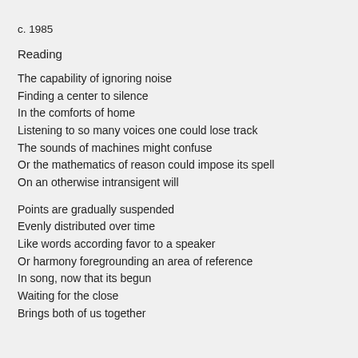c. 1985
Reading
The capability of ignoring noise
Finding a center to silence
In the comforts of home
Listening to so many voices one could lose track
The sounds of machines might confuse
Or the mathematics of reason could impose its spell
On an otherwise intransigent will
Points are gradually suspended
Evenly distributed over time
Like words according favor to a speaker
Or harmony foregrounding an area of reference
In song, now that its begun
Waiting for the close
Brings both of us together